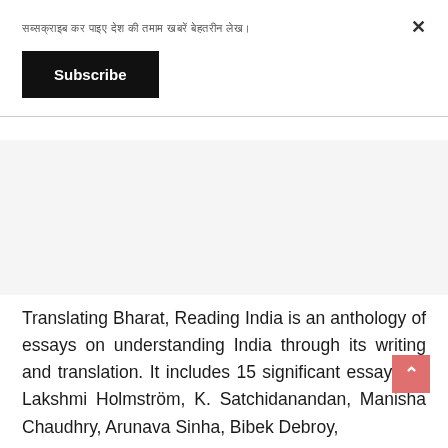सब्सक्राइब कर पाइए देश की तमाम खबरें बेहतरीन लेख।
Subscribe
Translating Bharat, Reading India is an anthology of essays on understanding India through its writing and translation. It includes 15 significant essays by Lakshmi Holmström, K. Satchidanandan, Manisha Chaudhry, Arunava Sinha, Bibek Debroy,